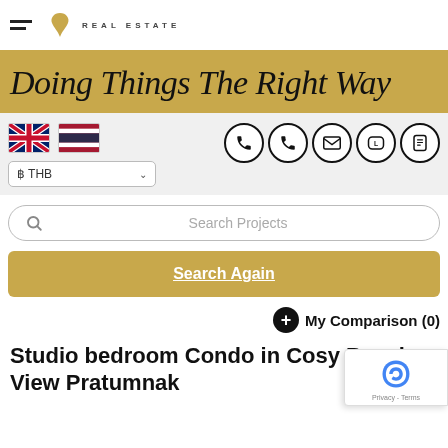REAL ESTATE
Doing Things The Right Way
UK flag, Thailand flag, ฿ THB currency selector, contact icons: phone, phone, email, Line, WhatsApp
Search Projects
Search Again
My Comparison (0)
Studio bedroom Condo in Cosy Beach View Pratumnak